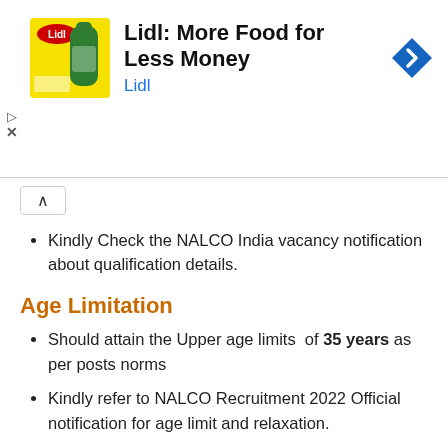[Figure (other): Lidl advertisement banner with logo, title 'Lidl: More Food for Less Money', subtitle 'Lidl', and a navigation arrow icon on the right. Play and close controls on the left.]
Kindly Check the NALCO India vacancy notification about qualification details.
Age Limitation
Should attain the Upper age limits of 35 years as per posts norms
Kindly refer to NALCO Recruitment 2022 Official notification for age limit and relaxation.
Hiring Process
GATE – 2022 Marks